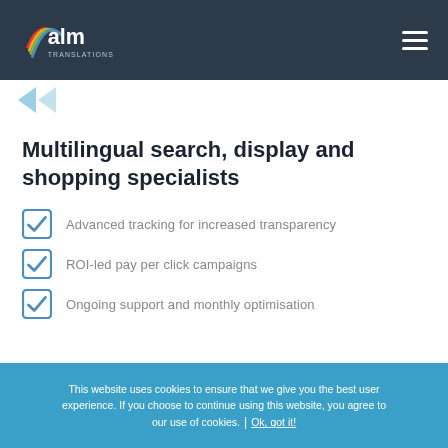alm TRANSLATIONS
Multilingual search, display and shopping specialists
Advanced tracking for increased transparency
ROI-led pay per click campaigns
Ongoing support and monthly optimisation
This website uses cookies to ensure that we give you the best user experience. If you choose to continue using this website, you agree to our use of cookies. | Ok, got it!